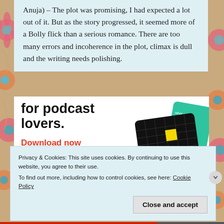Anuja) – The plot was promising, I had expected a lot out of it. But as the story progressed, it seemed more of a Bolly flick than a serious romance. There are too many errors and incoherence in the plot, climax is dull and the writing needs polishing.
[Figure (infographic): Advertisement banner for podcast app with text 'for podcast lovers.' and 'Download now' CTA in red, alongside podcast app card images including '99% Invisible' on a black grid background]
Privacy & Cookies: This site uses cookies. By continuing to use this website, you agree to their use.
To find out more, including how to control cookies, see here: Cookie Policy
Close and accept